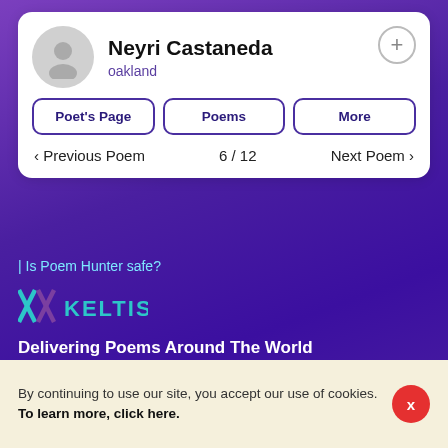Neyri Castaneda
oakland
Poet's Page | Poems | More
< Previous Poem   6 / 12   Next Poem >
| Is Poem Hunter safe?
[Figure (logo): Keltis logo with stylized double-X symbol in teal/purple and KELTIS text]
Delivering Poems Around The World
Poems are the property of their respective owners. All information has been reproduced here for educational and informational purposes to benefit site visitors, and is provided at no charge...
8/24/2022 10:08:31 AM # 1.0.0.1019
By continuing to use our site, you accept our use of cookies.
To learn more, click here.